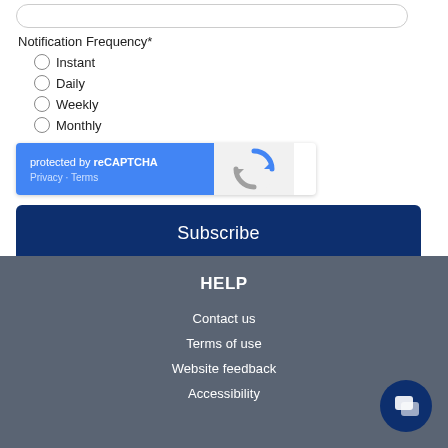Notification Frequency*
Instant
Daily
Weekly
Monthly
[Figure (other): reCAPTCHA widget with blue left panel showing 'protected by reCAPTCHA' and Privacy / Terms links, and grey right panel with reCAPTCHA logo]
Subscribe
HELP
Contact us
Terms of use
Website feedback
Accessibility